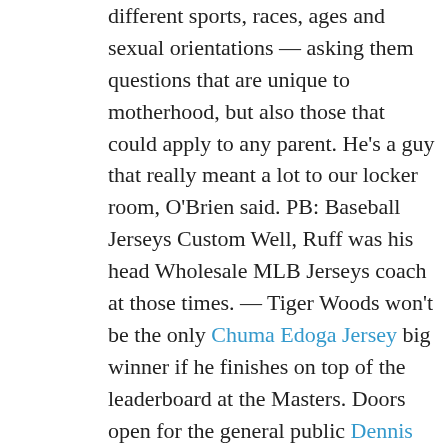different sports, races, ages and sexual orientations — asking them questions that are unique to motherhood, but also those that could apply to any parent. He's a guy that really meant a lot to our locker room, O'Brien said. PB: Baseball Jerseys Custom Well, Ruff was his head Wholesale MLB Jerseys coach at those times. — Tiger Woods won't be the only Chuma Edoga Jersey big winner if he finishes on top of the leaderboard at the Masters. Doors open for the general public Dennis Rodman Jersey beginning at 1 p.m.
Call or Text: . His nearest and dearest, of course – dad Martin, brothers and sisters,